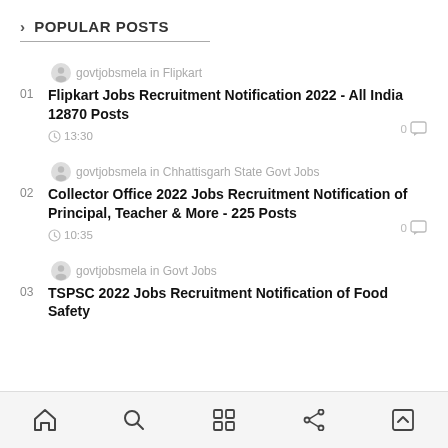> POPULAR POSTS
01 Flipkart Jobs Recruitment Notification 2022 - All India 12870 Posts
02 Collector Office 2022 Jobs Recruitment Notification of Principal, Teacher & More - 225 Posts
03 TSPSC 2022 Jobs Recruitment Notification of Food Safety...
Home | Search | Grid | Share | Top